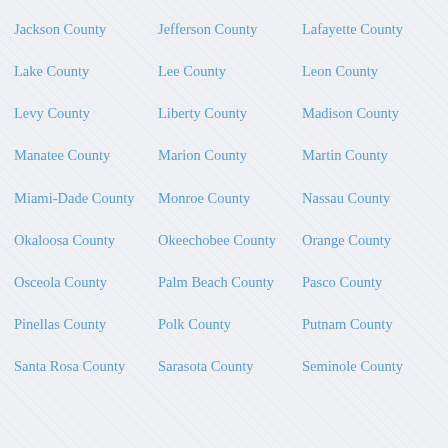Jackson County
Jefferson County
Lafayette County
Lake County
Lee County
Leon County
Levy County
Liberty County
Madison County
Manatee County
Marion County
Martin County
Miami-Dade County
Monroe County
Nassau County
Okaloosa County
Okeechobee County
Orange County
Osceola County
Palm Beach County
Pasco County
Pinellas County
Polk County
Putnam County
Santa Rosa County
Sarasota County
Seminole County